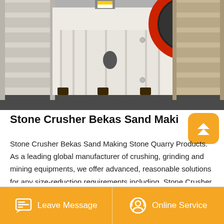[Figure (photo): Industrial stone crusher machines (jaw crushers) in white/cream color, with large red flywheel visible, arranged in a factory warehouse setting on a dark floor.]
Stone Crusher Bekas Sand Making Stone Qua
Stone Crusher Bekas Sand Making Stone Quarry Products. As a leading global manufacturer of crushing, grinding and mining equipments, we offer advanced, reasonable solutions for any size-reduction requirements including, Stone Crusher Bekas Sand Making Stone Quarry, quarry, aggregate, and different kinds of minerals.
Leave Message   Online Service